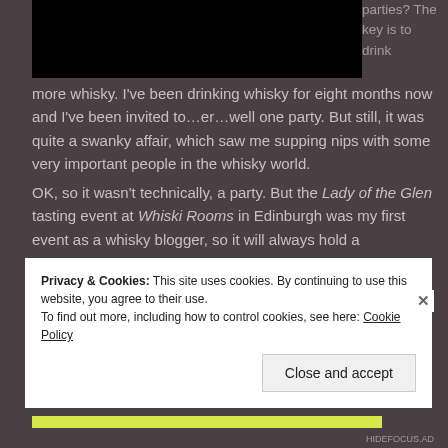[Figure (photo): Dark/black image at top left of the page]
parties? The key is to drink more whisky. I've been drinking whisky for eight months now and I've been invited to…er…well one party. But still, it was quite a swanky affair, which saw me supping nips with some very important people in the whisky world.
OK, so it wasn't technically, a party. But the Lady of the Glen tasting event at Whiski Rooms in Edinburgh was my first event as a whisky blogger, so it will always hold a
Privacy & Cookies: This site uses cookies. By continuing to use this website, you agree to their use.
To find out more, including how to control cookies, see here: Cookie Policy
Close and accept